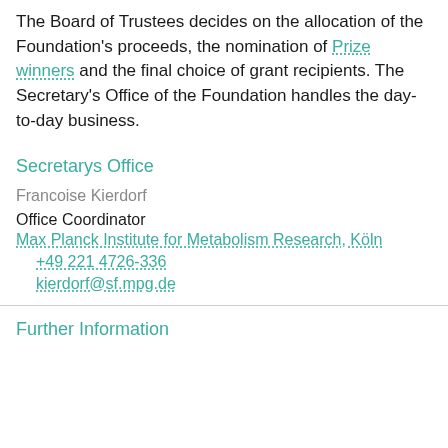The Board of Trustees decides on the allocation of the Foundation's proceeds, the nomination of Prize winners and the final choice of grant recipients. The Secretary's Office of the Foundation handles the day-to-day business.
Secretarys Office
Francoise Kierdorf
Office Coordinator
Max Planck Institute for Metabolism Research, Köln
+49 221 4726-336
kierdorf@sf.mpg.de
Further Information